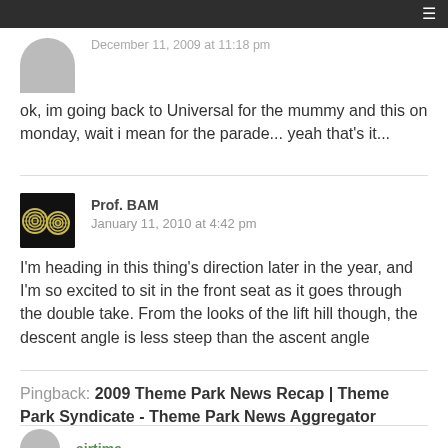December 11, 2009 at 11:18 pm
ok, im going back to Universal for the mummy and this on monday, wait i mean for the parade... yeah that's it...
Prof. BAM
January 11, 2010 at 4:42 pm
I'm heading in this thing's direction later in the year, and I'm so excited to sit in the front seat as it goes through the double take. From the looks of the lift hill though, the descent angle is less steep than the ascent angle
Pingback: 2009 Theme Park News Recap | Theme Park Syndicate - Theme Park News Aggregator
airtime